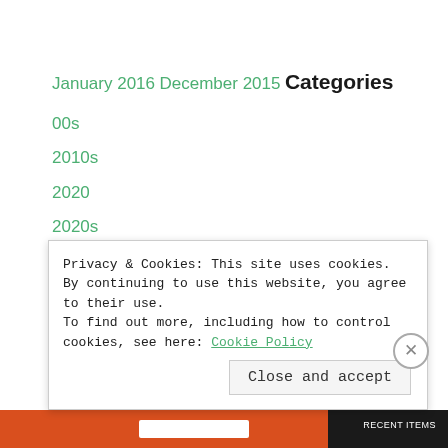January 2016
December 2015
Categories
00s
2010s
2020
2020s
30s
31 Days of Halloween
50s
Privacy & Cookies: This site uses cookies. By continuing to use this website, you agree to their use.
To find out more, including how to control cookies, see here: Cookie Policy
Close and accept